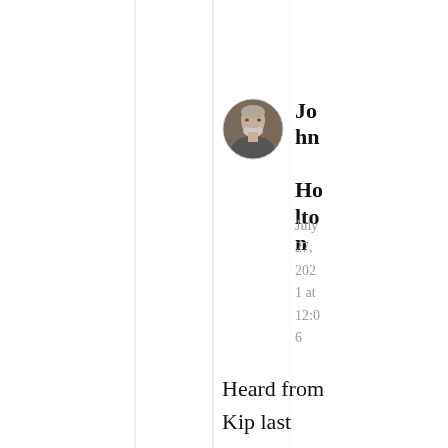[Figure (photo): Circular profile photo of an older man with grey hair and beard]
John Holton
July 27, 2021 at 12:06
Heard from Kip last